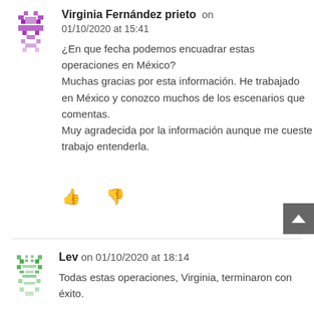Virginia Fernández prieto on 01/10/2020 at 15:41
¿En que fecha podemos encuadrar estas operaciones en México?
Muchas gracias por esta información. He trabajado en México y conozco muchos de los escenarios que comentas.
Muy agradecida por la información aunque me cueste trabajo entenderla.
Lev on 01/10/2020 at 18:14
Todas estas operaciones, Virginia, terminaron con éxito.

No puedo nombrar el tiempo exacto